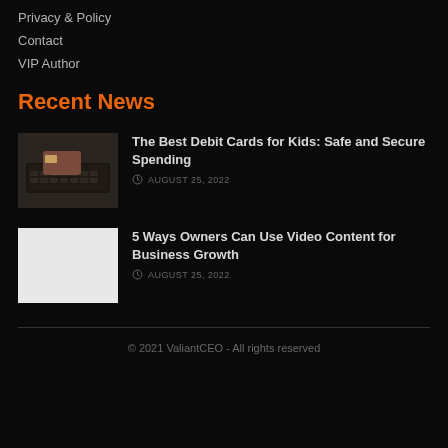Privacy & Policy
Contact
VIP Author
Recent News
[Figure (photo): Dark photo of a laptop keyboard with a card placed on it]
The Best Debit Cards for Kids: Safe and Secure Spending
AUGUST 25, 2022
[Figure (photo): White/blank thumbnail image]
5 Ways Owners Can Use Video Content for Business Growth
AUGUST 25, 2022
© 2021 ValiantCEO - All rights reserved